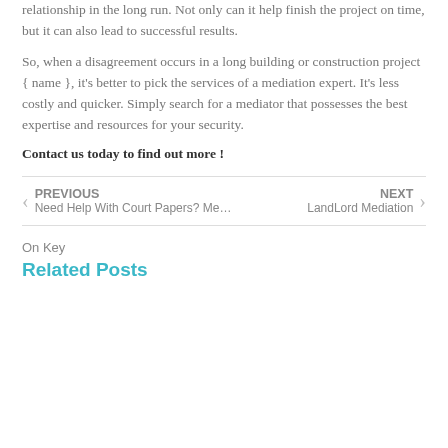relationship in the long run. Not only can it help finish the project on time, but it can also lead to successful results.
So, when a disagreement occurs in a long building or construction project { name }, it's better to pick the services of a mediation expert. It's less costly and quicker. Simply search for a mediator that possesses the best expertise and resources for your security.
Contact us today to find out more !
Prev: Need Help With Court Papers? Me… | Next: LandLord Mediation
On Key
Related Posts